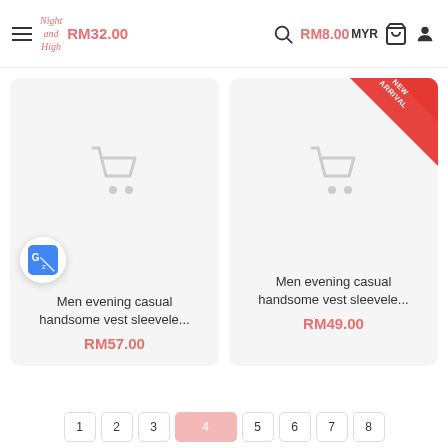Night and High | RM32.00 | RM8.00 | MYR
[Figure (screenshot): E-commerce product listing page showing two men's vest products with placeholder cart icons, prices RM57.00 and RM49.00, with a Google Translate icon overlay and a New Arrival badge on the second product]
Men evening casual handsome vest sleevele...
RM57.00
Men evening casual handsome vest sleevele...
RM49.00